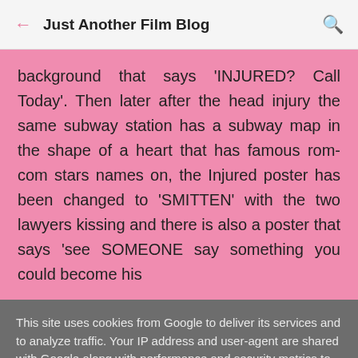Just Another Film Blog
background that says 'INJURED? Call Today'. Then later after the head injury the same subway station has a subway map in the shape of a heart that has famous rom-com stars names on, the Injured poster has been changed to 'SMITTEN' with the two lawyers kissing and there is also a poster that says 'see SOMEONE say something you could become his
This site uses cookies from Google to deliver its services and to analyze traffic. Your IP address and user-agent are shared with Google along with performance and security metrics to ensure quality of service, generate usage statistics, and to detect and address abuse.
LEARN MORE    OK